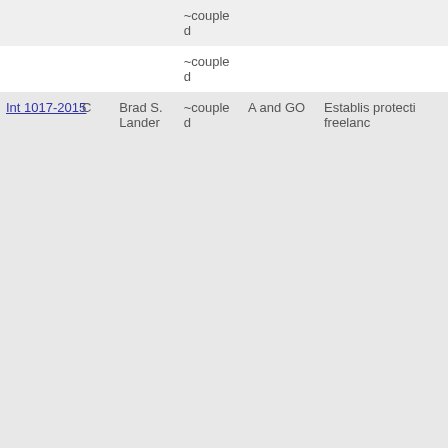|  |  |  | ~coupled |  |  |
|  |  |  | ~coupled |  |  |
| Int 1017-2015 | C | Brad S. Lander | ~coupled | A and GO | Establis... protecti... freelanc... |